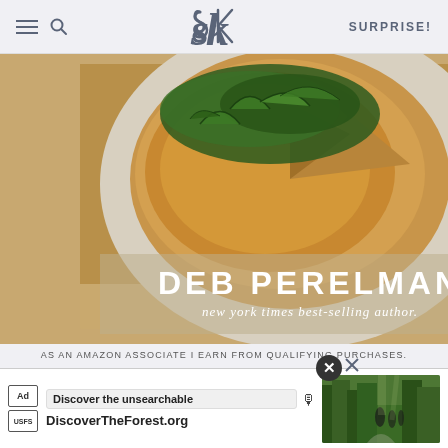SK — SURPRISE!
[Figure (photo): Book cover photo showing a frittata or potato dish on a white plate with greens on top, book by Deb Perelman, New York Times best-selling author, displayed as a 3D book mockup]
AS AN AMAZON ASSOCIATE I EARN FROM QUALIFYING PURCHASES.
©2009-2022 SMITTEN KITCHEN. PROUDLY POWERED BY WORDPRESS. HOSTED BY PRESSABLE.
[Figure (screenshot): Ad banner: Discover the unsearchable — DiscoverTheForest.org with forest photo of people hiking]